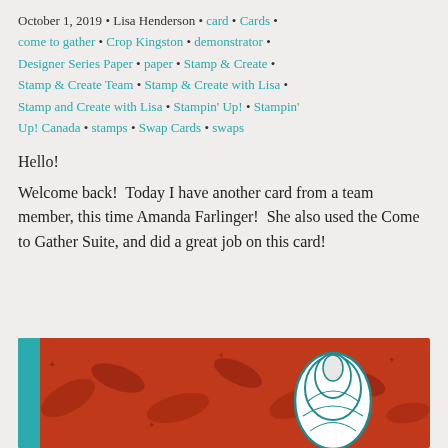October 1, 2019 • Lisa Henderson • card • Cards • come to gather • Crop Kingston • demonstrator • Designer Series Paper • paper • Stamp & Create • Stamp & Create Team • Stamp & Create with Lisa • Stamp and Create with Lisa • Stampin' Up! • Stampin' Up! Canada • stamps • Swap Cards • swaps
Hello!
Welcome back!  Today I have another card from a team member, this time Amanda Farlinger!  She also used the Come to Gather Suite, and did a great job on this card!
[Figure (photo): Partial view of a handmade card with a red/orange background featuring dark floral leaf patterns, a teal/blue decorative border strip, and a white stamped rose embellishment.]